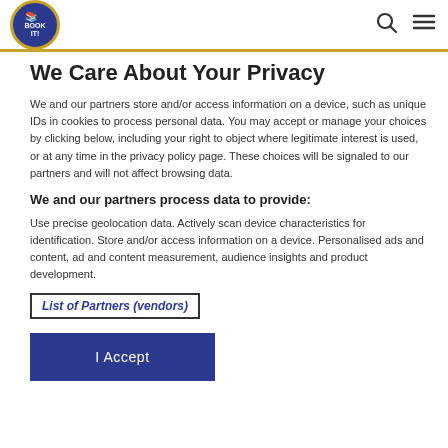BOOK IT! [logo] [search icon] [menu icon]
We Care About Your Privacy
We and our partners store and/or access information on a device, such as unique IDs in cookies to process personal data. You may accept or manage your choices by clicking below, including your right to object where legitimate interest is used, or at any time in the privacy policy page. These choices will be signaled to our partners and will not affect browsing data.
We and our partners process data to provide:
Use precise geolocation data. Actively scan device characteristics for identification. Store and/or access information on a device. Personalised ads and content, ad and content measurement, audience insights and product development.
List of Partners (vendors)
I Accept